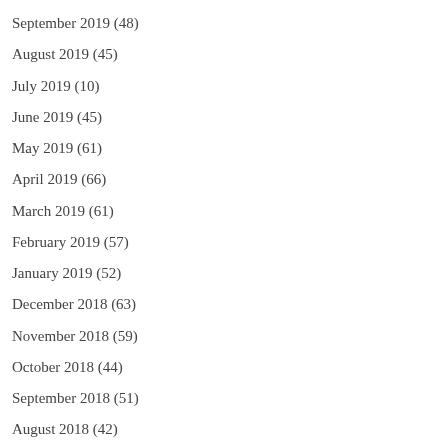September 2019 (48)
August 2019 (45)
July 2019 (10)
June 2019 (45)
May 2019 (61)
April 2019 (66)
March 2019 (61)
February 2019 (57)
January 2019 (52)
December 2018 (63)
November 2018 (59)
October 2018 (44)
September 2018 (51)
August 2018 (42)
July 2018 (51)